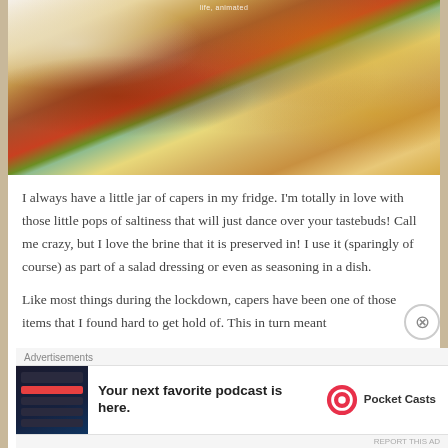[Figure (photo): A plated food dish featuring what appears to be roasted chicken or meat with caramelized onions, tomato sauce, herbs/capers garnish, served on egg noodles on a white plate. Watermark text reads 'life, animated' at top.]
I always have a little jar of capers in my fridge. I’m totally in love with those little pops of saltiness that will just dance over your tastebuds! Call me crazy, but I love the brine that it is preserved in! I use it (sparingly of course) as part of a salad dressing or even as seasoning in a dish.
Like most things during the lockdown, capers have been one of those items that I found hard to get hold of. This in turn meant
Advertisements
[Figure (screenshot): Pocket Casts advertisement banner. Left side shows a dark mobile app screenshot. Center text reads 'Your next favorite podcast is here.' in bold. Right side shows Pocket Casts logo (circular pink/red icon with headphone symbol) and brand name 'Pocket Casts'.]